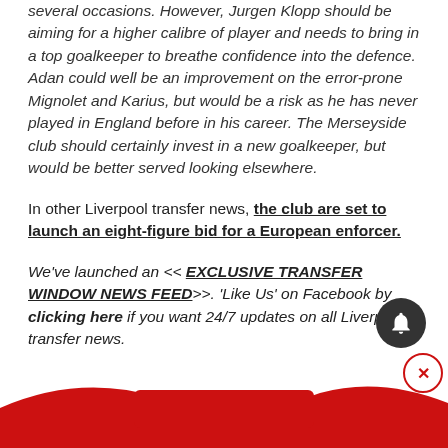several occasions. However, Jurgen Klopp should be aiming for a higher calibre of player and needs to bring in a top goalkeeper to breathe confidence into the defence. Adan could well be an improvement on the error-prone Mignolet and Karius, but would be a risk as he has never played in England before in his career. The Merseyside club should certainly invest in a new goalkeeper, but would be better served looking elsewhere.
In other Liverpool transfer news, the club are set to launch an eight-figure bid for a European enforcer.
We've launched an << EXCLUSIVE TRANSFER WINDOW NEWS FEED>>. 'Like Us' on Facebook by clicking here if you want 24/7 updates on all Liverpool transfer news.